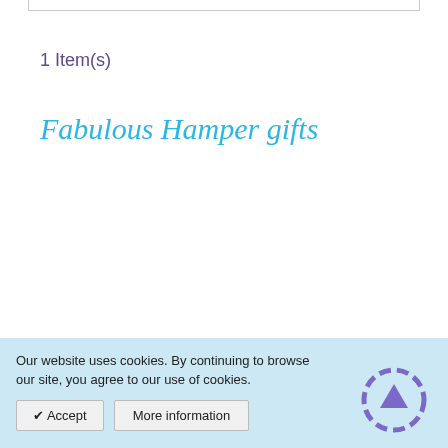1 Item(s)
Fabulous Hamper gifts
Our website uses cookies. By continuing to browse our site, you agree to our use of cookies.
✔ Accept   More information